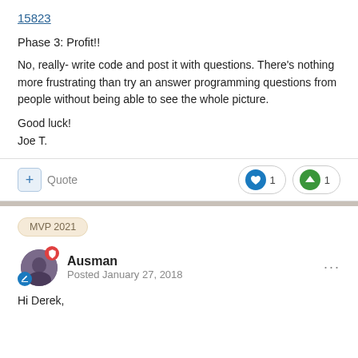15823
Phase 3:  Profit!!
No, really-  write code and post it with questions.  There's nothing more frustrating than try an answer programming questions from people without being able to see the whole picture.
Good luck!
Joe T.
+ Quote  ❤ 1  ↑ 1
MVP 2021
Ausman
Posted January 27, 2018
Hi Derek,